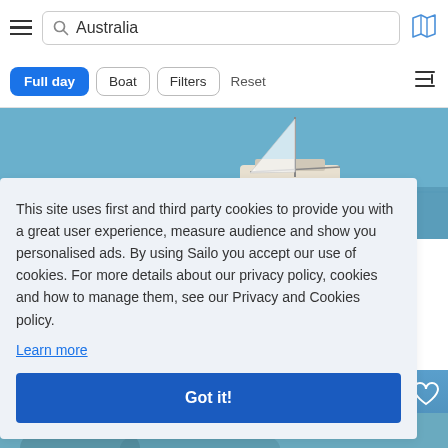Australia
Full day  Boat  Filters  Reset
[Figure (photo): Boat on water, aerial/side view, blue sea background]
This site uses first and third party cookies to provide you with a great user experience, measure audience and show you personalised ads. By using Sailo you accept our use of cookies. For more details about our privacy policy, cookies and how to manage them, see our Privacy and Cookies policy.
Learn more
Got it!
[Figure (photo): Partial photo on right side, boat/sailing scene]